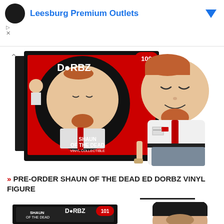[Figure (screenshot): Advertisement banner for Leesburg Premium Outlets with circular logo and blue diamond icon]
[Figure (photo): Funko Dorbz Shaun of the Dead vinyl figure #100 showing product box with red background and the round vinyl figure with ginger beard, white shirt and red tie]
» PRE-ORDER SHAUN OF THE DEAD ED DORBZ VINYL FIGURE
[Figure (photo): Funko Dorbz Shaun of the Dead Ed vinyl figure #101 showing black product box and the round black-haired vinyl figure]